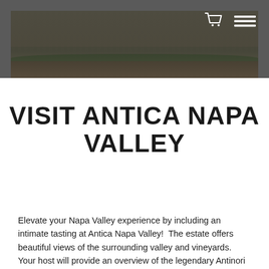[Figure (photo): Hero header image showing a vineyard/estate landscape with dark overlay, shopping cart icon and hamburger menu icon in top right corner]
VISIT ANTICA NAPA VALLEY
Elevate your Napa Valley experience by including an intimate tasting at Antica Napa Valley!  The estate offers beautiful views of the surrounding valley and vineyards. Your host will provide an overview of the legendary Antinori family while you taste through the exceptional estate wines.